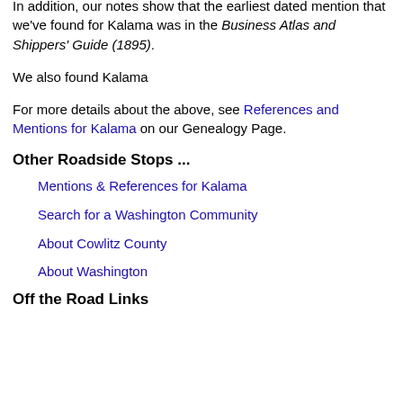the FIPS-55 and the GNIS. For more information, see the FIPS and GNIS Codes sections on our Miscellaneous Page.
In addition, our notes show that the earliest dated mention that we've found for Kalama was in the Business Atlas and Shippers' Guide (1895).
We also found Kalama
For more details about the above, see References and Mentions for Kalama on our Genealogy Page.
Other Roadside Stops ...
Mentions & References for Kalama
Search for a Washington Community
About Cowlitz County
About Washington
Off the Road Links